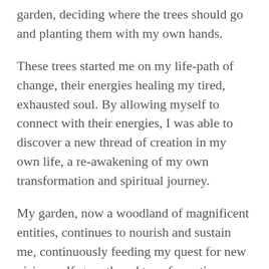garden, deciding where the trees should go and planting them with my own hands.
These trees started me on my life-path of change, their energies healing my tired, exhausted soul. By allowing myself to connect with their energies, I was able to discover a new thread of creation in my own life, a re-awakening of my own transformation and spiritual journey.
My garden, now a woodland of magnificent entities, continues to nourish and sustain me, continuously feeding my quest for new vision, self-growth and transformation.
I  encourage you to nourish and sustain your own “Journey Tree”, chosen by you, for you, as you take your own journey of change. By opening your heart to the spiritual